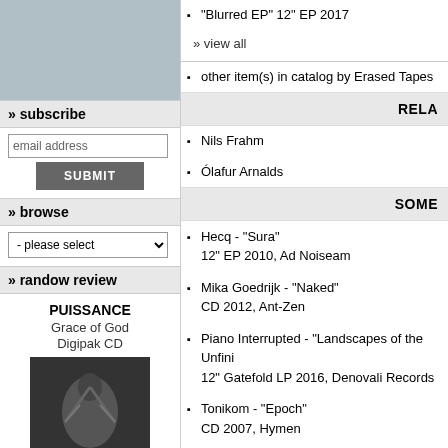[Figure (photo): Gray placeholder image in left sidebar]
» subscribe
email address
SUBMIT
» browse
- please select
» randow review
PUISSANCE
Grace of God
Digipak CD
[Figure (photo): Dark album cover with angel figure]
"Napjaink egyik legfontosabb, a
"Blurred EP" 12" EP 2017
» view all
other item(s) in catalog by Erased Tapes
RELA
Nils Frahm
Ólafur Arnalds
SOME
Hecq - "Sura"
12" EP 2010, Ad Noiseam
Mika Goedrijk - "Naked"
CD 2012, Ant-Zen
Piano Interrupted - "Landscapes of the Unfini
12" Gatefold LP 2016, Denovali Records
Tonikom - "Epoch"
CD 2007, Hymen
Terminal11 - "Fractured Sunshine"
CD 2007, Hymen